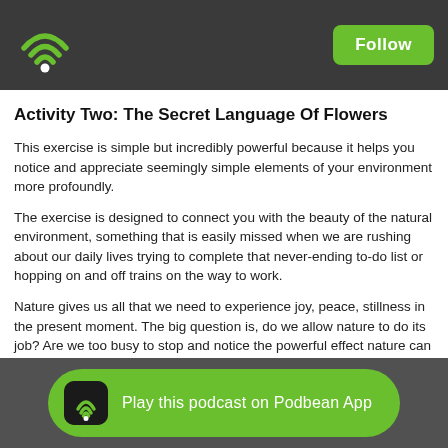Podbean app header with wifi logo and Follow button
Activity Two: The Secret Language Of Flowers
This exercise is simple but incredibly powerful because it helps you notice and appreciate seemingly simple elements of your environment more profoundly.
The exercise is designed to connect you with the beauty of the natural environment, something that is easily missed when we are rushing about our daily lives trying to complete that never-ending to-do list or hopping on and off trains on the way to work.
Nature gives us all that we need to experience joy, peace, stillness in the present moment. The big question is, do we allow nature to do its job? Are we too busy to stop and notice the powerful effect nature can have on our entire well-being? Or are we too distracted and overwhelmed to let nature in?
Read the full day two challenge about the Secret Language Of Flowers which includes a flower observation journal sheet and the flower mind...
Play this podcast on Podbean App